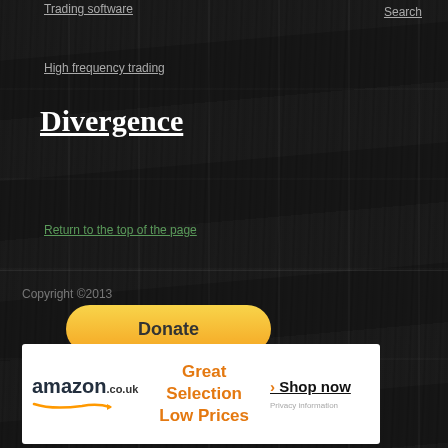Trading software
Search
High frequency trading
Divergence
Return to the top of the page
Copyright ©2013
[Figure (other): PayPal Donate button with credit card icons (Visa, Mastercard, Maestro, Amex, Discover, UnionPay)]
[Figure (other): Amazon.co.uk advertisement banner: Great Selection Low Prices - Shop now, Privacy information]